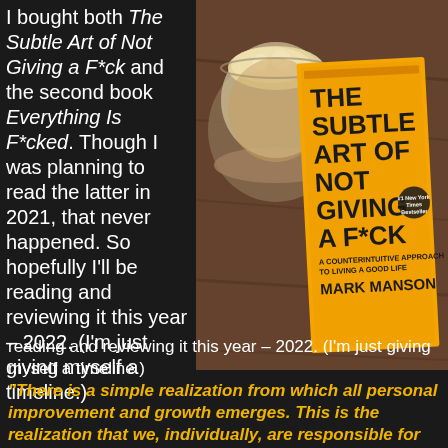I bought both The Subtle Art of Not Giving a F*ck and the second book Everything Is F*cked. Though I was planning to read the latter in 2021, that never happened. So hopefully I'll be reading and reviewing it this year – 2022. (I'm just giving myself a timeline.)
[Figure (photo): Photo of a book 'The Subtle Art of Not Giving a F*ck' by Mark Manson (orange cover) on a wooden table next to a glass mug with a frothy drink]
"There is a simple realization from which all personal improvement and growth emerges. This is the realization that we, individually, are responsible for everything in our lives, no...